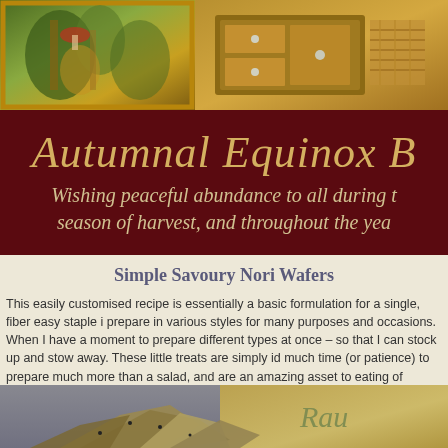[Figure (photo): Two decorative images side by side at top: left shows a painting with green and golden foliage tones with an ornate golden frame, right shows a wooden drawer/cabinet with woven textile items in warm brown and golden tones]
Autumnal Equinox B
Wishing peaceful abundance to all during t season of harvest, and throughout the yea
Simple Savoury Nori Wafers
This easily customised recipe is essentially a basic formulation for a single, fiber easy staple i prepare in various styles for many purposes and occasions. When I have a moment to prepare different types at once – so that I can stock up and stow away. These little treats are simply id much time (or patience) to prepare much more than a salad, and are an amazing asset to eating of mysterious (& often overpriced) pre-made items from shops.
[Figure (photo): Close-up photograph of savoury nori wafers/crackers on a plate, with a blurred background showing a decorative card with italic script reading 'Raw']